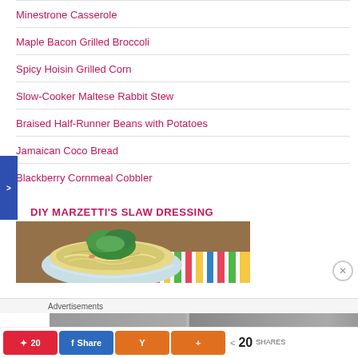Minestrone Casserole
Maple Bacon Grilled Broccoli
Spicy Hoisin Grilled Corn
Slow-Cooker Maltese Rabbit Stew
Braised Half-Runner Beans with Potatoes
Jamaican Coco Bread
Blackberry Cornmeal Cobbler
DIY MARZETTI'S SLAW DRESSING
[Figure (photo): A blue bowl filled with coleslaw topped with fresh green herbs, placed on a colorful striped cloth on a wooden surface.]
Advertisements
20 SHARES